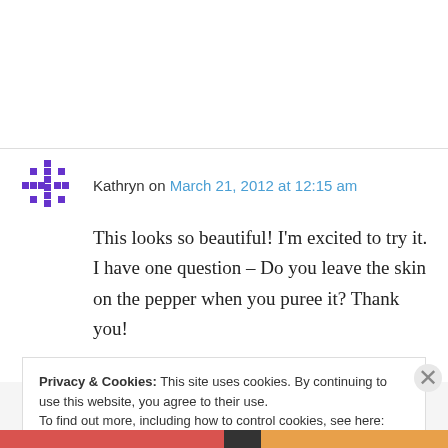Kathryn on March 21, 2012 at 12:15 am
This looks so beautiful! I'm excited to try it. I have one question – Do you leave the skin on the pepper when you puree it? Thank you!
↳ Reply
Privacy & Cookies: This site uses cookies. By continuing to use this website, you agree to their use. To find out more, including how to control cookies, see here: Cookie Policy
Close and accept